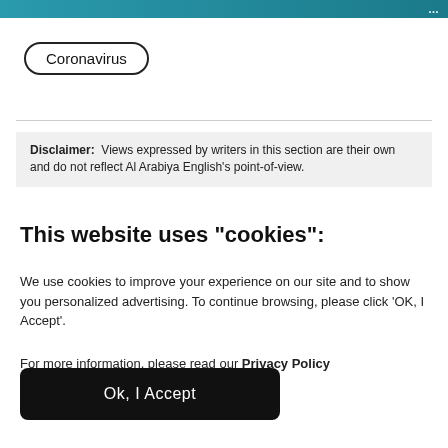...
Coronavirus
Disclaimer: Views expressed by writers in this section are their own and do not reflect Al Arabiya English's point-of-view.
This website uses "cookies":
We use cookies to improve your experience on our site and to show you personalized advertising. To continue browsing, please click 'OK, I Accept'.
For more information, please read our Privacy Policy
Ok, I Accept